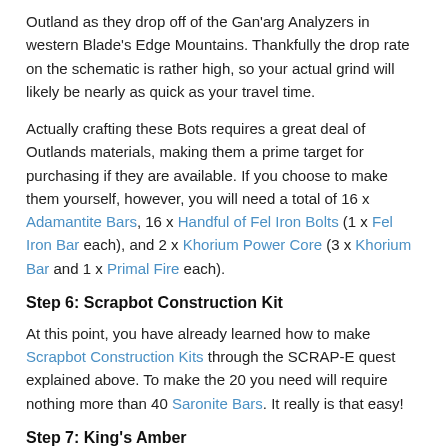Outland as they drop off of the Gan'arg Analyzers in western Blade's Edge Mountains. Thankfully the drop rate on the schematic is rather high, so your actual grind will likely be nearly as quick as your travel time.
Actually crafting these Bots requires a great deal of Outlands materials, making them a prime target for purchasing if they are available. If you choose to make them yourself, however, you will need a total of 16 x Adamantite Bars, 16 x Handful of Fel Iron Bolts (1 x Fel Iron Bar each), and 2 x Khorium Power Core (3 x Khorium Bar and 1 x Primal Fire each).
Step 6: Scrapbot Construction Kit
At this point, you have already learned how to make Scrapbot Construction Kits through the SCRAP-E quest explained above. To make the 20 you need will require nothing more than 40 Saronite Bars. It really is that easy!
Step 7: King's Amber
There are four ways to get the 2 x King's Amber needed for